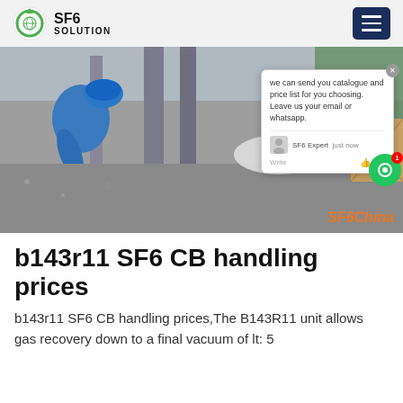SF6 SOLUTION
[Figure (photo): Worker in blue hard hat and jacket working on SF6 gas equipment at an industrial site. A chat popup overlay is visible on the right side of the image with text: 'we can send you catalogue and price list for you choosing. Leave us your email or whatsapp.' SF6 Expert just now. Write. Watermark: SF6China]
b143r11 SF6 CB handling prices
b143r11 SF6 CB handling prices,The B143R11 unit allows gas recovery down to a final vacuum of lt: 5